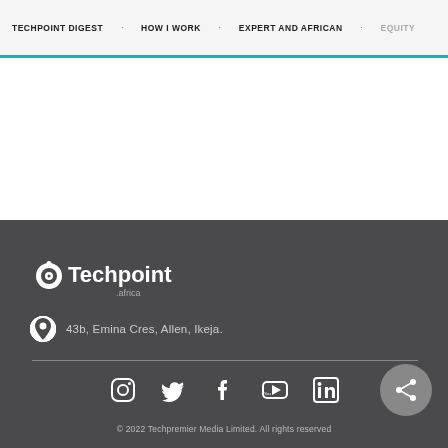TECHPOINT DIGEST · HOW I WORK · EXPERT AND AFRICAN · EQUITY
[Figure (logo): Techpoint Africa logo in white on dark footer background]
43b, Emina Cres, Allen, Ikeja.
[Figure (infographic): Social media icons: Instagram, Twitter, Facebook, YouTube, LinkedIn]
© 2022 Techpremier Media Limited. All rights reserved